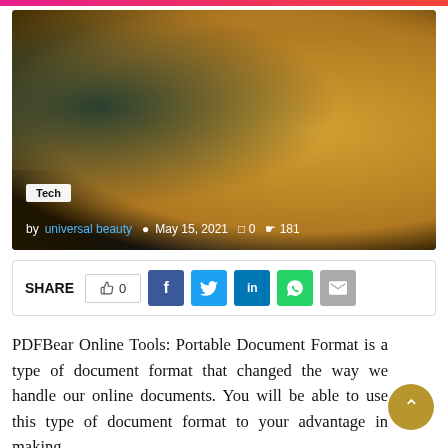[Figure (photo): Person wearing a mustard/amber knit sweater, hands visible, possibly holding a device or reading, warm toned photo with dark lower background]
Tech
by universal beauty  May 15, 2021  0  181
SHARE  0  [Facebook] [Twitter] [LinkedIn] [WhatsApp] [Email]
PDFBear Online Tools: Portable Document Format is a type of document format that changed the way we handle our online documents. You will be able to use this type of document format to your advantage in making